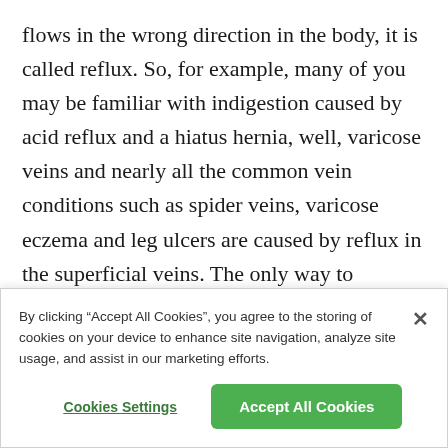flows in the wrong direction in the body, it is called reflux. So, for example, many of you may be familiar with indigestion caused by acid reflux and a hiatus hernia, well, varicose veins and nearly all the common vein conditions such as spider veins, varicose eczema and leg ulcers are caused by reflux in the superficial veins. The only way to accurately diagnose vein conditions and their underlying cause is with a venous duplex ultrasound scan. This
By clicking “Accept All Cookies”, you agree to the storing of cookies on your device to enhance site navigation, analyze site usage, and assist in our marketing efforts.
Cookies Settings
Accept All Cookies